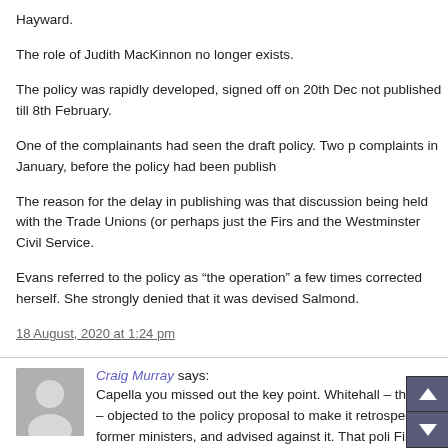Hayward.
The role of Judith MacKinnon no longer exists.
The policy was rapidly developed, signed off on 20th December, but not published till 8th February.
One of the complainants had seen the draft policy. Two people made complaints in January, before the policy had been published.
The reason for the delay in publishing was that discussions were still being held with the Trade Unions (or perhaps just the First Minister) and the Westminster Civil Service.
Evans referred to the policy as “the operation” a few times before she corrected herself. She strongly denied that it was devised to target Salmond.
18 August, 2020 at 1:24 pm
Craig Murray says: Capella you missed out the key point. Whitehall – the Cabinet Office – objected to the policy proposal to make it retrospective for former ministers, and advised against it. That policy was signed by First Minister.